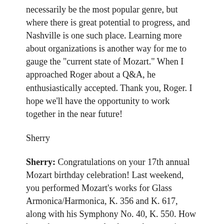necessarily be the most popular genre, but where there is great potential to progress, and Nashville is one such place. Learning more about organizations is another way for me to gauge the "current state of Mozart." When I approached Roger about a Q&A, he enthusiastically accepted. Thank you, Roger. I hope we'll have the opportunity to work together in the near future!
Sherry
Sherry: Congratulations on your 17th annual Mozart birthday celebration! Last weekend, you performed Mozart's works for Glass Armonica/Harmonica, K. 356 and K. 617, along with his Symphony No. 40, K. 550. How have the concerts evolved over the years in terms of repertoire and personnel? As not only the Founder of Mozart in Nashville, but also one of its musicians, what works do you enjoy performing most?